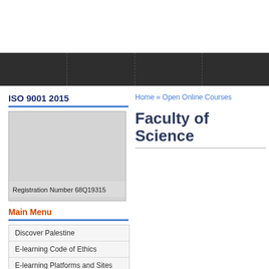[Figure (screenshot): Dark navigation bar with four column cells separated by dashed vertical lines]
ISO 9001 2015
[Figure (photo): ISO 9001 2015 certification image placeholder (grey box) with Registration Number 68Q19315 label at bottom]
Main Menu
Discover Palestine
E-learning Code of Ethics
E-learning Platforms and Sites
Home » Open Online Courses
Faculty of Science